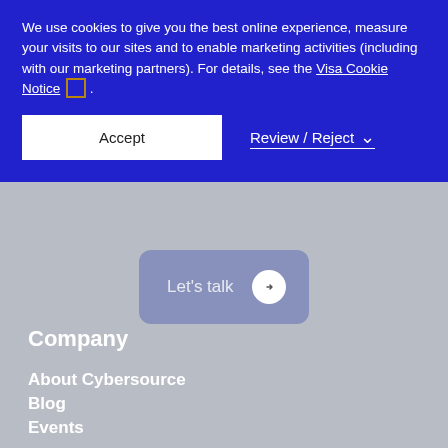We use cookies to give you the best online experience, measure your visits to our sites and to enable marketing activities (including with our marketing partners). For details, see the Visa Cookie Notice .
Accept
Review / Reject
[Figure (other): Let's talk button with right arrow circle on gray background]
Company
About Cybersource
Blog
Events